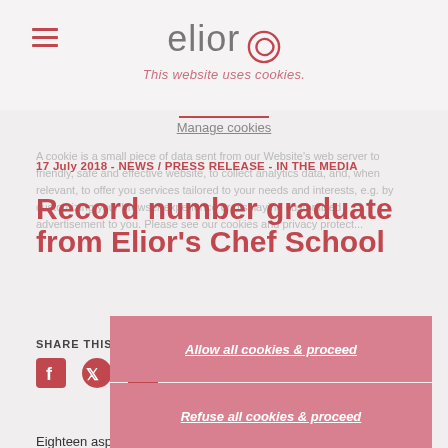elior — This website uses cookies.
Manage cookies
A cookie is a small piece of data sent from our Website's web server to...
17 July 2018 - NEWS / PRESS RELEASE - IN THE MEDIA
Record number graduate from Elior's Chef School
SHARE THIS PAGE
Allow all cookies & proceed
[Figure (other): Social share icons: Facebook, Twitter, LinkedIn]
Refuse all cookies & proceed
Eighteen aspiring chefs have graduated from Elior's award-winning Chef School; the nine-month training programme